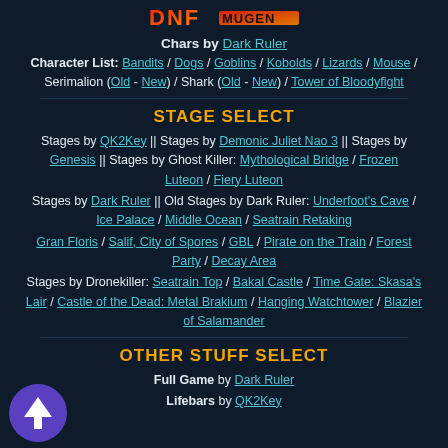[Figure (logo): Stylized game title logo in red and orange at the top of the page]
Chars by Dark Ruler
Character List: Bandits / Dogs / Goblins / Kobolds / Lizards / Mouse / Serimalion (Old - New) / Shark (Old - New) / Tower of Bloodyfight
STAGE SELECT
Stages by QK2Key || Stages by Demonic Juliet Nao 3 || Stages by Genesis || Stages by Ghost Killer: Mythological Bridge / Frozen Luteon / Fiery Luteon
Stages by Dark Ruler || Old Stages by Dark Ruler: Underfoot's Cave / Ice Palace / Middle Ocean / Seatrain Retaking
Gran Floris / Salif, City of Spores / GBL / Pirate on the Train / Forest Party / Decay Area
Stages by Dronekiller: Seatrain Top / Bakal Castle / Time Gate: Skasa's Lair / Castle of the Dead: Metal Brakium / Hanging Watchtower / Blazier of Salamander
OTHER STUFF SELECT
Full Game by Dark Ruler
Lifebars by QK2Key